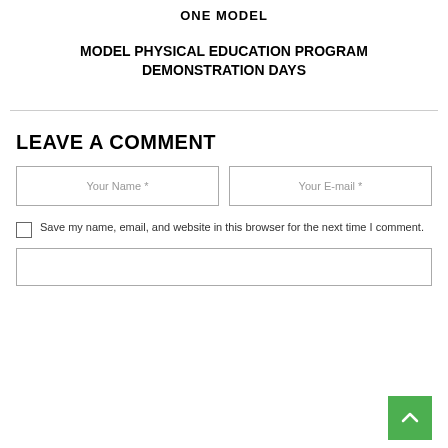ONE MODEL
MODEL PHYSICAL EDUCATION PROGRAM DEMONSTRATION DAYS
LEAVE A COMMENT
Your Name *
Your E-mail *
Save my name, email, and website in this browser for the next time I comment.